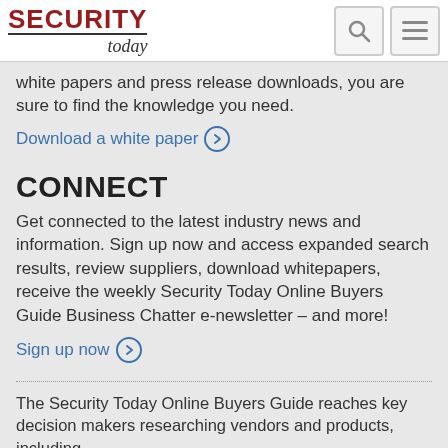SECURITY today
white papers and press release downloads, you are sure to find the knowledge you need.
Download a white paper
CONNECT
Get connected to the latest industry news and information. Sign up now and access expanded search results, review suppliers, download whitepapers, receive the weekly Security Today Online Buyers Guide Business Chatter e-newsletter – and more!
Sign up now
The Security Today Online Buyers Guide reaches key decision makers researching vendors and products, including